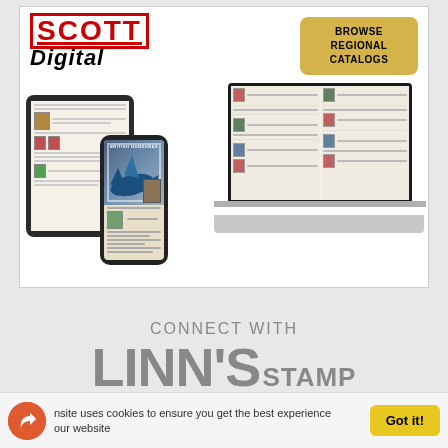[Figure (screenshot): Scott Digital catalog advertisement showing the Scott Digital logo with 'BROWSE REGIONAL CATALOGS' button, and mockups of a laptop, tablet, and smartphone displaying stamp catalog pages including a British Honduras stamp.]
[Figure (logo): CONNECT WITH LINN'S STAMP NEWS logo in large bold gray text on light gray background.]
This website uses cookies to ensure you get the best experience on our website
Got it!